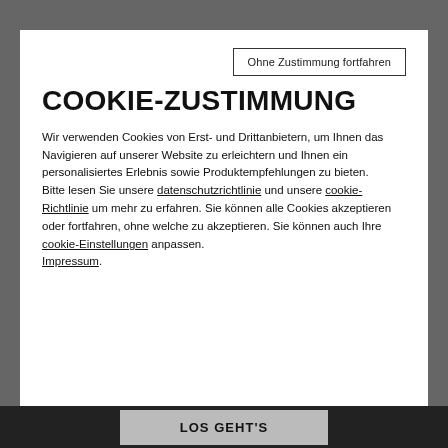Ohne Zustimmung fortfahren
COOKIE-ZUSTIMMUNG
Wir verwenden Cookies von Erst- und Drittanbietern, um Ihnen das Navigieren auf unserer Website zu erleichtern und Ihnen ein personalisiertes Erlebnis sowie Produktempfehlungen zu bieten. Bitte lesen Sie unsere datenschutzrichtlinie und unsere cookie-Richtlinie um mehr zu erfahren. Sie können alle Cookies akzeptieren oder fortfahren, ohne welche zu akzeptieren. Sie können auch Ihre cookie-Einstellungen anpassen. Impressum.
LOS GEHT'S